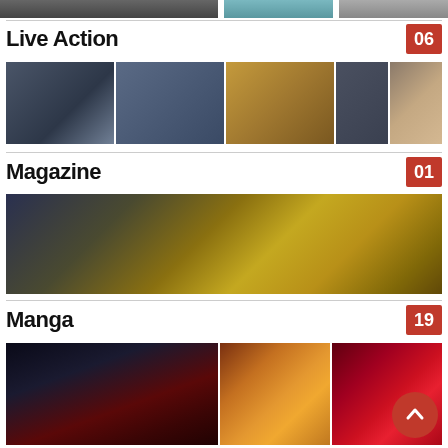[Figure (photo): Top strip of three cropped images from previous section]
Live Action 06
[Figure (photo): Grid of 5 Live Action images including mecha, group photo, glowing giant robot, man with beard, and anime poster]
Magazine 01
[Figure (photo): Wide banner image showing anime characters in dark and golden tones]
Manga 19
[Figure (photo): Three Manga cover images: dark creature/Venom-style, colorful mecha/monster, red action scene]